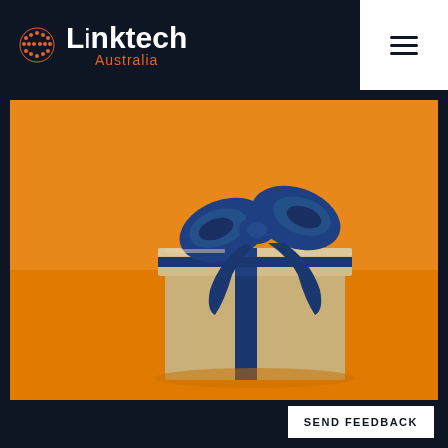Linktech Australia
[Figure (photo): A kraft paper gift box with a dark navy blue satin ribbon and bow, set against an orange background]
SEND FEEDBACK